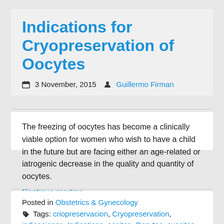Indications for Cryopreservation of Oocytes
3 November, 2015  Guillermo Firman
The freezing of oocytes has become a clinically viable option for women who wish to have a child in the future but are facing either an age-related or iatrogenic decrease in the quality and quantity of oocytes.
Continue reading
Posted in Obstetrics & Gynecology
Tags: criopreservacion, Cryopreservation,
indicaciones, Indications, oocitos, Oocytes, ovocitos